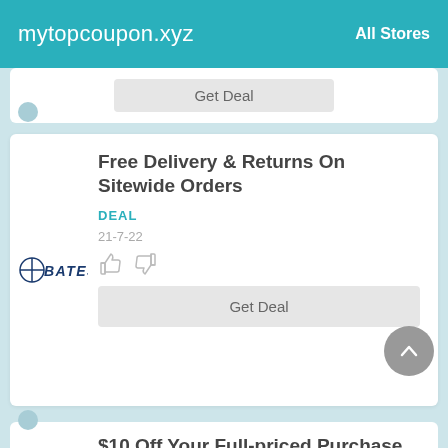mytopcoupon.xyz   All Stores
Get Deal
Free Delivery & Returns On Sitewide Orders
DEAL
21-7-22
Get Deal
$10 Off Your Full-priced Purchase Of $50+
PROMO CODE
5-9-22